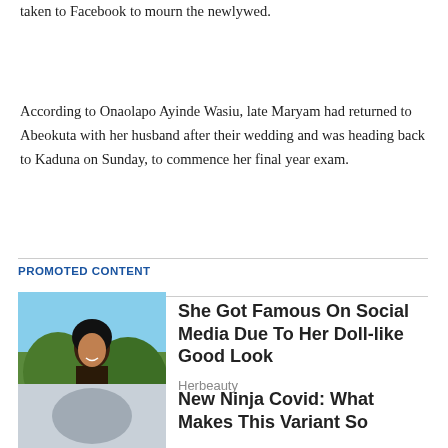taken to Facebook to mourn the newlywed.
According to Onaolapo Ayinde Wasiu, late Maryam had returned to Abeokuta with her husband after their wedding and was heading back to Kaduna on Sunday, to commence her final year exam.
PROMOTED CONTENT
[Figure (photo): Young woman in a bikini smiling outdoors near greenery]
She Got Famous On Social Media Due To Her Doll-like Good Look
Herbeauty
New Ninja Covid: What Makes This Variant So